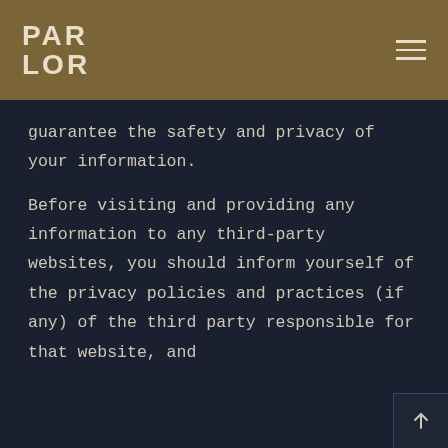PAR LOR
guarantee the safety and privacy of your information.
Before visiting and providing any information to any third-party websites, you should inform yourself of the privacy policies and practices (if any) of the third party responsible for that website, and